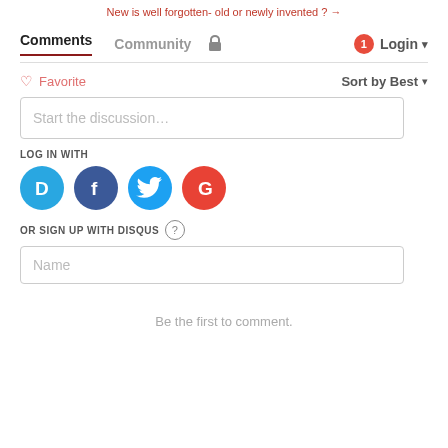New is well forgotten- old or newly invented ? →
Comments  Community  🔒  1  Login ▾
♡ Favorite    Sort by Best ▾
Start the discussion…
LOG IN WITH
[Figure (infographic): Four social login circles: Disqus (blue D), Facebook (dark blue F), Twitter (light blue bird), Google (red G)]
OR SIGN UP WITH DISQUS ?
Name
Be the first to comment.